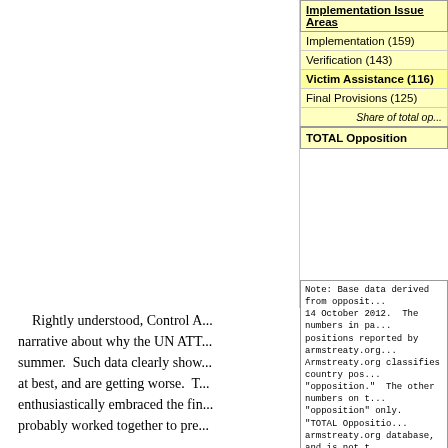| Implementation Issue Areas |
| --- |
| Implementation (159) |
| Verification (143) |
| Victim Assistance (116) |
| Final Provisions (125) |
| Share of total op... |
| TOTAL Opposition |
Note: Base data derived from opposition positions reported by armstreaty.org as of 14 October 2012. The numbers in parentheses are the total number of opposition positions reported by armstreaty.org for each issue area. Armstreaty.org classifies country positions as "support," "neutral," or "opposition." The other numbers on the table reflect countries coded as "opposition" only. "TOTAL Opposition" is calculated from the armstreaty.org database, and is not the same as total opposition from 29 August to 14 October 2012. This table may be freely distributed when full attribution...
Rightly understood, Control A... narrative about why the UN ATT... summer. Such data clearly show... at best, and are getting worse. T... enthusiastically embraced the fin... probably worked together to pre...